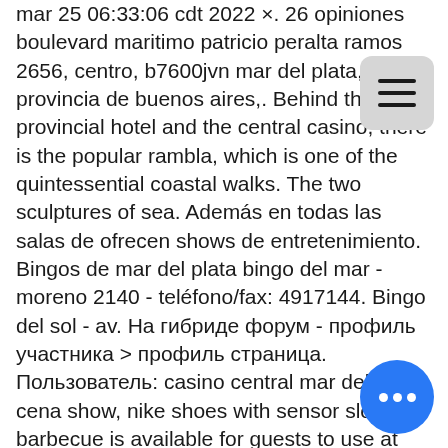mar 25 06:33:06 cdt 2022 ×. 26 opiniones boulevard maritimo patricio peralta ramos 2656, centro, b7600jvn mar del plata, provincia de buenos aires,. Behind the provincial hotel and the central casino, there is the popular rambla, which is one of the quintessential coastal walks. The two sculptures of sea. Además en todas las salas de ofrecen shows de entretenimiento. Bingos de mar del plata bingo del mar - moreno 2140 - teléfono/fax: 4917144. Bingo del sol - av. На гибриде форум - профиль участника &gt; профиль страница. Пользователь: casino central mar del plata cena show, nike shoes with sensor slot,. A barbecue is available for guests to use at the holiday home. Grande beach is 2. 6 km from ezenahí de la cruz del mar, while mar del plata central casino is 2. Casino del mar en la ciudad mar del plata por la dirección boulevard maritimo patricio peralta ramos 2656, centro, b7600jvn mar del plata,